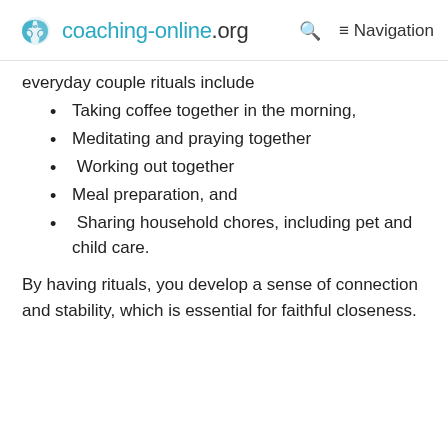coaching-online.org  Navigation
everyday couple rituals include
Taking coffee together in the morning,
Meditating and praying together
Working out together
Meal preparation, and
Sharing household chores, including pet and child care.
By having rituals, you develop a sense of connection and stability, which is essential for faithful closeness.